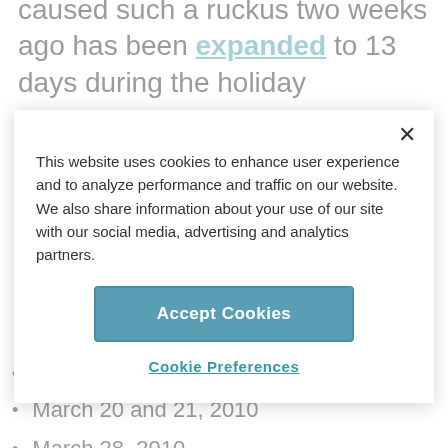caused such a ruckus two weeks ago has been expanded to 13 days during the holiday
This website uses cookies to enhance user experience and to analyze performance and traffic on our website. We also share information about your use of our site with our social media, advertising and analytics partners.
Accept Cookies
Cookie Preferences
March 14, 2010
March 20 and 21, 2010
March 28, 2010
April 11, 2010
May 28, 2010